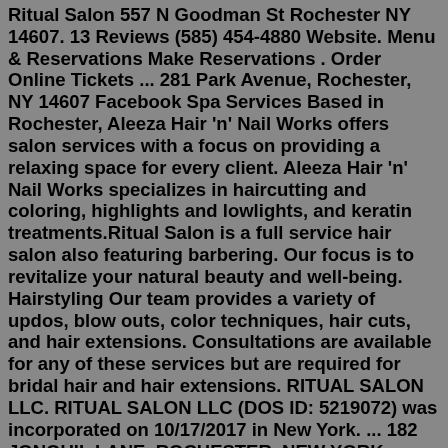Ritual Salon 557 N Goodman St Rochester NY 14607. 13 Reviews (585) 454-4880 Website. Menu & Reservations Make Reservations . Order Online Tickets ... 281 Park Avenue, Rochester, NY 14607 Facebook Spa Services Based in Rochester, Aleeza Hair 'n' Nail Works offers salon services with a focus on providing a relaxing space for every client. Aleeza Hair 'n' Nail Works specializes in haircutting and coloring, highlights and lowlights, and keratin treatments.Ritual Salon is a full service hair salon also featuring barbering. Our focus is to revitalize your natural beauty and well-being. Hairstyling Our team provides a variety of updos, blow outs, color techniques, hair cuts, and hair extensions. Consultations are available for any of these services but are required for bridal hair and hair extensions. RITUAL SALON LLC. RITUAL SALON LLC (DOS ID: 5219072) was incorporated on 10/17/2017 in New York. ... 182 JONQUIL LANE, ROCHESTER, NEW YORK, 14612 « MEDIAITE, ... RITUAL SALON LLC. RITUAL SALON LLC (DOS ID: 5219072) was